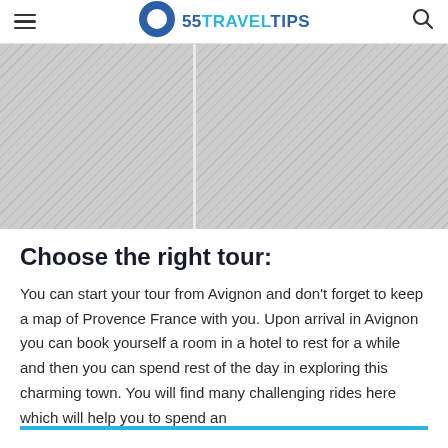55 TRAVELTIPS
[Figure (photo): Two side-by-side faded/grayed out travel photos, likely showing Provence France scenery]
Choose the right tour:
You can start your tour from Avignon and don't forget to keep a map of Provence France with you. Upon arrival in Avignon you can book yourself a room in a hotel to rest for a while and then you can spend rest of the day in exploring this charming town. You will find many challenging rides here which will help you to spend an